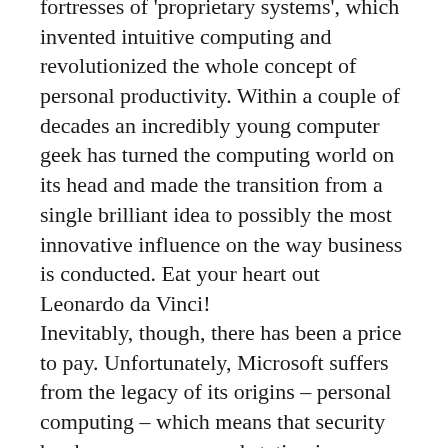fortresses of 'proprietary systems', which invented intuitive computing and revolutionized the whole concept of personal productivity. Within a couple of decades an incredibly young computer geek has turned the computing world on its head and made the transition from a single brilliant idea to possibly the most innovative influence on the way business is conducted. Eat your heart out Leonardo da Vinci!
Inevitably, though, there has been a price to pay. Unfortunately, Microsoft suffers from the legacy of its origins – personal computing – which means that security has been seen as a workstation issue rather than a network-wide issue. That's why managing security across enterprise networks has become a nightmare. To put some scale to the problem, every two years PricewaterhouseCoopers carries out a